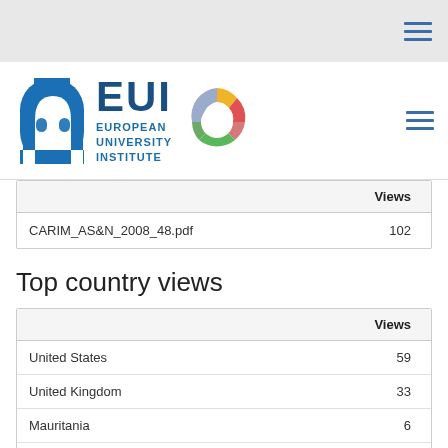[Figure (logo): European University Institute logo with EUI text and multicolor donut chart graphic]
|  | Views |
| --- | --- |
| CARIM_AS&N_2008_48.pdf | 102 |
Top country views
|  | Views |
| --- | --- |
| United States | 59 |
| United Kingdom | 33 |
| Mauritania | 6 |
| Sweden | 6 |